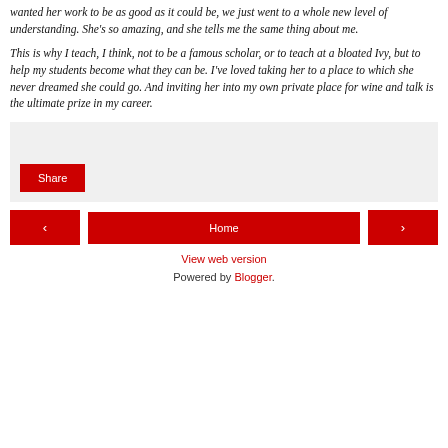wanted her work to be as good as it could be, we just went to a whole new level of understanding. She's so amazing, and she tells me the same thing about me.
This is why I teach, I think, not to be a famous scholar, or to teach at a bloated Ivy, but to help my students become what they can be. I've loved taking her to a place to which she never dreamed she could go. And inviting her into my own private place for wine and talk is the ultimate prize in my career.
[Figure (other): Share button widget in a light grey box]
[Figure (infographic): Navigation bar with left arrow button, Home button, and right arrow button]
View web version
Powered by Blogger.